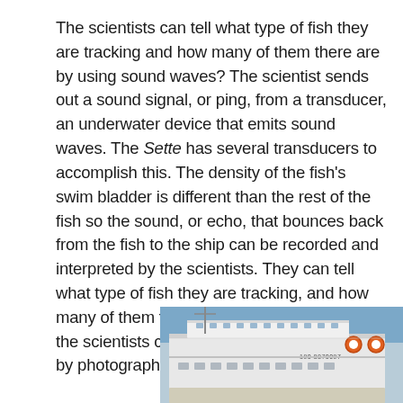The scientists can tell what type of fish they are tracking and how many of them there are by using sound waves? The scientist sends out a sound signal, or ping, from a transducer, an underwater device that emits sound waves. The Sette has several transducers to accomplish this. The density of the fish's swim bladder is different than the rest of the fish so the sound, or echo, that bounces back from the fish to the ship can be recorded and interpreted by the scientists. They can tell what type of fish they are tracking, and how many of them there are. Dr. Kobayashi says the scientists can back up their interpretation by photography.
[Figure (photo): Photograph of a research vessel (the Oscar Elton Sette), showing the white ship structure with equipment, life rings, and a blue sky background. The ship identification number '190 8870097' is visible on the hull.]